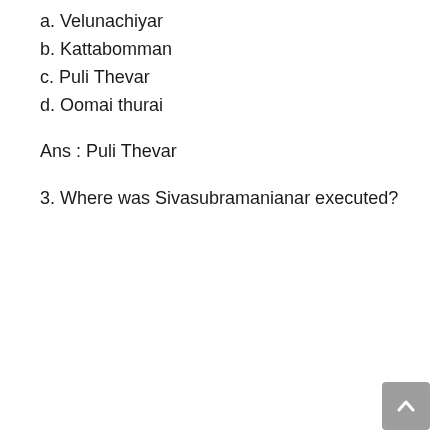a. Velunachiyar
b. Kattabomman
c. Puli Thevar
d. Oomai thurai
Ans : Puli Thevar
3. Where was Sivasubramanianar executed?